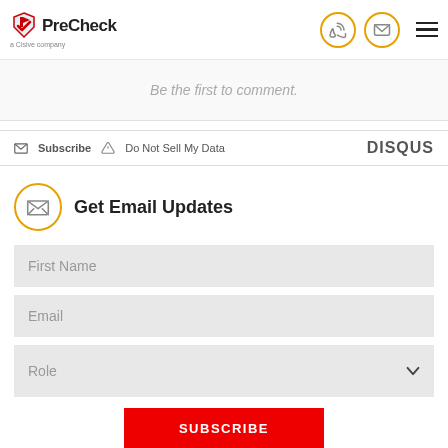[Figure (logo): PreCheck logo with red checkmark and shield icon, subtitle 'a Cisive company']
[Figure (infographic): Navigation header icons: phone icon in orange circle, email icon in orange circle, hamburger menu]
Be the first to comment.
Subscribe  Do Not Sell My Data   DISQUS
Get Email Updates
First Name
Email
Role
SUBSCRIBE